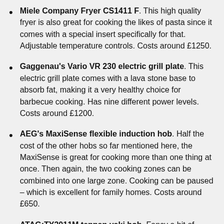Miele Company Fryer CS1411 F. This high quality fryer is also great for cooking the likes of pasta since it comes with a special insert specifically for that. Adjustable temperature controls. Costs around £1250.
Gaggenau's Vario VR 230 electric grill plate. This electric grill plate comes with a lava stone base to absorb fat, making it a very healthy choice for barbecue cooking. Has nine different power levels. Costs around £1200.
AEG's MaxiSense flexible induction hob. Half the cost of the other hobs so far mentioned here, the MaxiSense is great for cooking more than one thing at once. Then again, the two cooking zones can be combined into one large zone. Cooking can be paused – which is excellent for family homes. Costs around £650.
ATAG:TY3011M teppan yaki hob. Fancy a bit of healthy oriental cooking? Then check out this smart looking stainless-steel appliance. The yaki